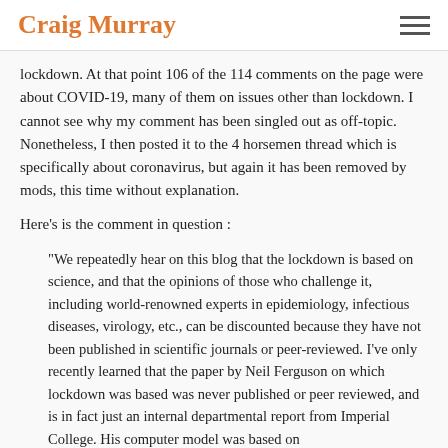Craig Murray
lockdown. At that point 106 of the 114 comments on the page were about COVID-19, many of them on issues other than lockdown. I cannot see why my comment has been singled out as off-topic. Nonetheless, I then posted it to the 4 horsemen thread which is specifically about coronavirus, but again it has been removed by mods, this time without explanation.
Here's is the comment in question :
“We repeatedly hear on this blog that the lockdown is based on science, and that the opinions of those who challenge it, including world-renowned experts in epidemiology, infectious diseases, virology, etc., can be discounted because they have not been published in scientific journals or peer-reviewed. I’ve only recently learned that the paper by Neil Ferguson on which lockdown was based was never published or peer reviewed, and is in fact just an internal departmental report from Imperial College. His computer model was based on